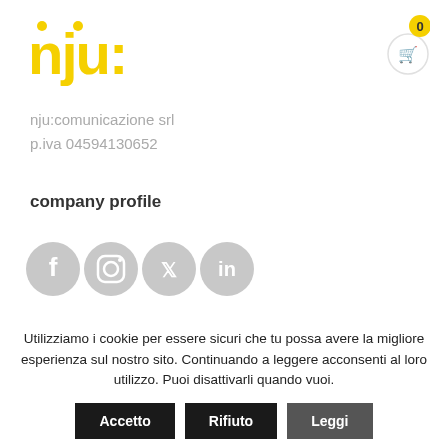[Figure (logo): nju: logo in yellow bold text with decorative dots]
[Figure (infographic): Shopping cart icon with badge showing 0]
nju:comunicazione srl
p.iva 04594130652
company profile
[Figure (infographic): Social media icons: Facebook, Instagram, Twitter, LinkedIn — all in gray circles]
Utilizziamo i cookie per essere sicuri che tu possa avere la migliore esperienza sul nostro sito. Continuando a leggere acconsenti al loro utilizzo. Puoi disattivarli quando vuoi.
Accetto   Rifiuto   Leggi